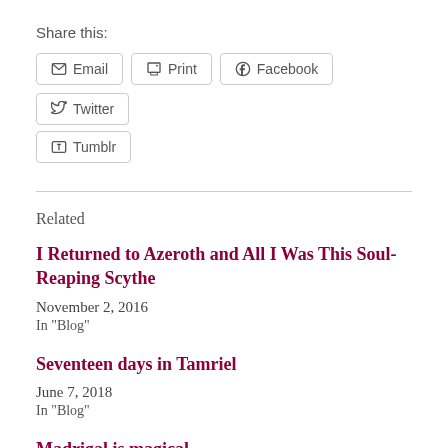Share this:
Email
Print
Facebook
Twitter
Tumblr
Related
I Returned to Azeroth and All I Was This Soul-Reaping Scythe
November 2, 2016
In "Blog"
Seventeen days in Tamriel
June 7, 2018
In "Blog"
Madrigal is magical